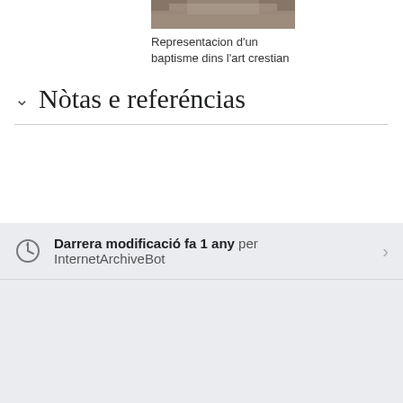[Figure (photo): Partial view of a religious artwork showing a baptism scene, cropped at top]
Representacion d'un baptisme dins l'art crestian
Nòtas e referéncias
Darrera modificació fa 1 any per InternetArchiveBot